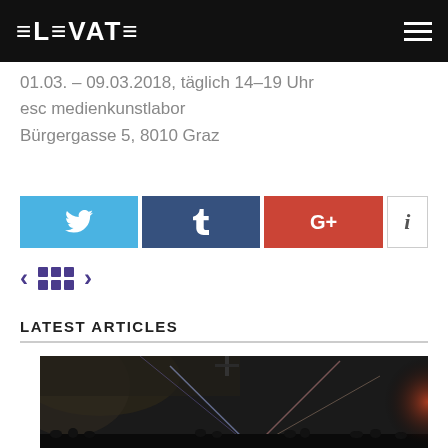ELEVATE
01.03. – 09.03.2018, täglich 14–19 Uhr
esc medienkunstlabor
Bürgergasse 5, 8010 Graz
[Figure (infographic): Social share buttons: Twitter (blue), Tumblr (dark blue), Google+ (red), Info (white bordered)]
[Figure (infographic): Pagination controls: left arrow, grid icon, right arrow in purple]
LATEST ARTICLES
[Figure (photo): Concert/event photo showing a dark venue with stage lighting and crowd silhouettes]